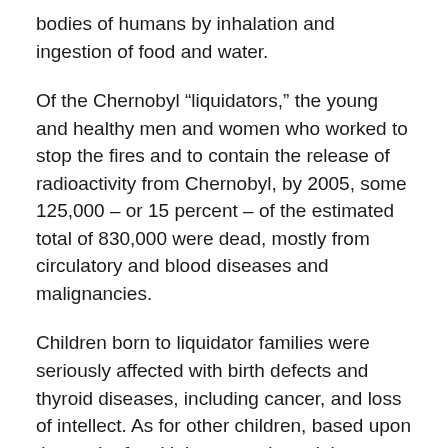bodies of humans by inhalation and ingestion of food and water.
Of the Chernobyl “liquidators,” the young and healthy men and women who worked to stop the fires and to contain the release of radioactivity from Chernobyl, by 2005, some 125,000 – or 15 percent – of the estimated total of 830,000 were dead, mostly from circulatory and blood diseases and malignancies.
Children born to liquidator families were seriously affected with birth defects and thyroid diseases, including cancer, and loss of intellect. As for other children, based upon the work of multiple researchers, it is estimated that in the heavily contaminated areas of Belarus, only 20 percent of children are considered healthy, placing an enormous burden upon governmental resources to provide medical care and